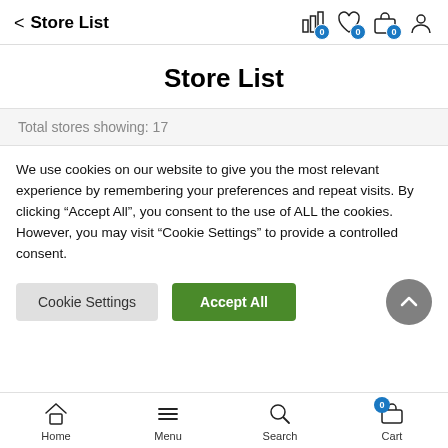< Store List
Store List
Total stores showing: 17
We use cookies on our website to give you the most relevant experience by remembering your preferences and repeat visits. By clicking “Accept All”, you consent to the use of ALL the cookies. However, you may visit “Cookie Settings” to provide a controlled consent.
Home  Menu  Search  Cart